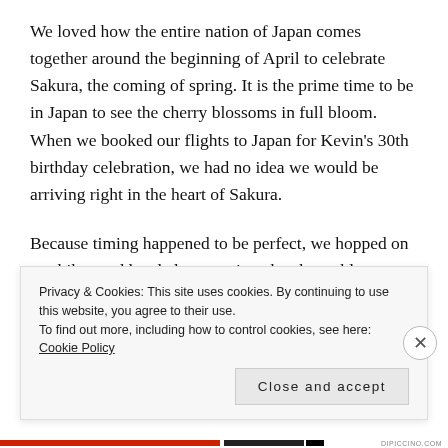We loved how the entire nation of Japan comes together around the beginning of April to celebrate Sakura, the coming of spring. It is the prime time to be in Japan to see the cherry blossoms in full bloom. When we booked our flights to Japan for Kevin's 30th birthday celebration, we had no idea we would be arriving right in the heart of Sakura.
Because timing happened to be perfect, we hopped on our bikes and headed out to view the cherry blossoms around Kyoto. Here are some of the hottest spots for viewing the blossoms all around town.
Privacy & Cookies: This site uses cookies. By continuing to use this website, you agree to their use.
To find out more, including how to control cookies, see here: Cookie Policy
Close and accept